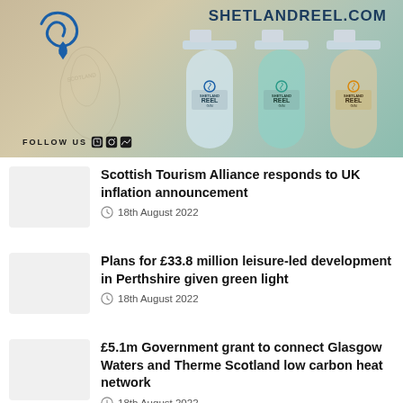[Figure (photo): Shetland Reel gin advertisement banner showing three gin bottles against a beige/teal map background, with a blue spiral logo, SHETLANDREEL.COM text, and FOLLOW US with social icons at the bottom left.]
Scottish Tourism Alliance responds to UK inflation announcement
18th August 2022
Plans for £33.8 million leisure-led development in Perthshire given green light
18th August 2022
£5.1m Government grant to connect Glasgow Waters and Therme Scotland low carbon heat network
18th August 2022